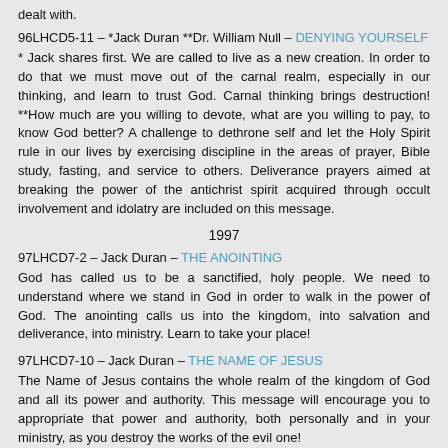dealt with.
96LHCD5-11 – *Jack Duran **Dr. William Null – DENYING YOURSELF
* Jack shares first. We are called to live as a new creation. In order to do that we must move out of the carnal realm, especially in our thinking, and learn to trust God. Carnal thinking brings destruction! **How much are you willing to devote, what are you willing to pay, to know God better? A challenge to dethrone self and let the Holy Spirit rule in our lives by exercising discipline in the areas of prayer, Bible study, fasting, and service to others. Deliverance prayers aimed at breaking the power of the antichrist spirit acquired through occult involvement and idolatry are included on this message.
1997
97LHCD7-2 – Jack Duran – THE ANOINTING
God has called us to be a sanctified, holy people. We need to understand where we stand in God in order to walk in the power of God. The anointing calls us into the kingdom, into salvation and deliverance, into ministry. Learn to take your place!
97LHCD7-10 – Jack Duran – THE NAME OF JESUS
The Name of Jesus contains the whole realm of the kingdom of God and all its power and authority. This message will encourage you to appropriate that power and authority, both personally and in your ministry, as you destroy the works of the evil one!
1999